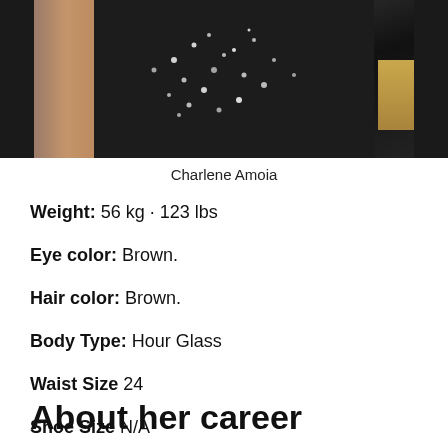[Figure (photo): Photo of Charlene Amoia wearing a black sequined outfit, cropped showing torso and one arm visible on the left side, with a gold block visible on the right edge.]
Charlene Amoia
Weight: 56 kg · 123 lbs
Eye color: Brown.
Hair color: Brown.
Body Type: Hour Glass
Waist Size 24
Shoe Size N/A
About her career